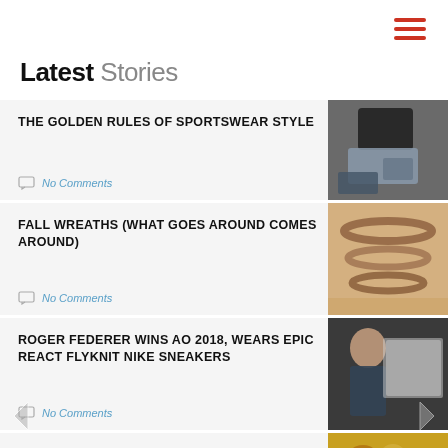[Figure (other): Hamburger menu icon with three red horizontal lines]
Latest Stories
[Figure (photo): Dark sportswear clothing items on a light surface]
THE GOLDEN RULES OF SPORTSWEAR STYLE
No Comments
[Figure (photo): Fall wreaths made of dried botanicals arranged on a white surface]
FALL WREATHS (WHAT GOES AROUND COMES AROUND)
No Comments
[Figure (photo): Roger Federer holding a trophy at the Australian Open 2018]
ROGER FEDERER WINS AO 2018, WEARS EPIC REACT FLYKNIT NIKE SNEAKERS
No Comments
FALL BACK IN STYLE!